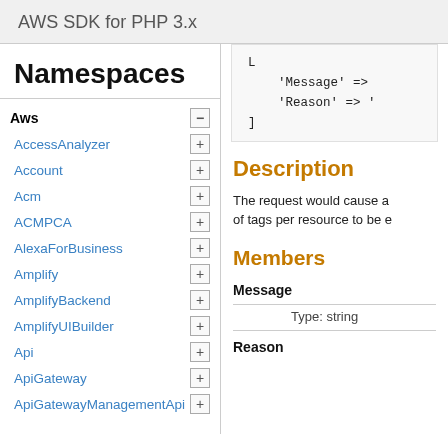AWS SDK for PHP 3.x
Namespaces
Aws
AccessAnalyzer
Account
Acm
ACMPCA
AlexaForBusiness
Amplify
AmplifyBackend
AmplifyUIBuilder
Api
ApiGateway
ApiGatewayManagementApi
[
    'Message' =>
    'Reason' => '
]
Description
The request would cause a of tags per resource to be e
Members
Message
Type: string
Reason